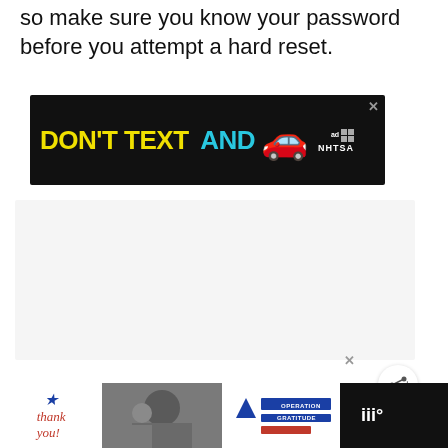so make sure you know your password before you attempt a hard reset.
[Figure (screenshot): Advertisement banner: DON'T TEXT AND [car emoji] ad choices NHTSA on black background]
[Figure (screenshot): UI elements: heart/favorite button (blue circle), share button (white circle with share icon), and 'WHAT'S NEXT' card showing 'Does Lowe's Have A...']
[Figure (screenshot): Bottom advertisement banner: 'thank you' with star graphic, military photo, Operation Gratitude logo on dark background]